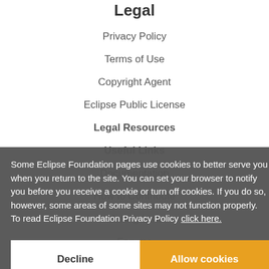Legal
Privacy Policy
Terms of Use
Copyright Agent
Eclipse Public License
Legal Resources
Useful Links
Documentation
How to Contribute
Mailing Lists
Forums
Marketplace
Some Eclipse Foundation pages use cookies to better serve you when you return to the site. You can set your browser to notify you before you receive a cookie or turn off cookies. If you do so, however, some areas of some sites may not function properly. To read Eclipse Foundation Privacy Policy click here.